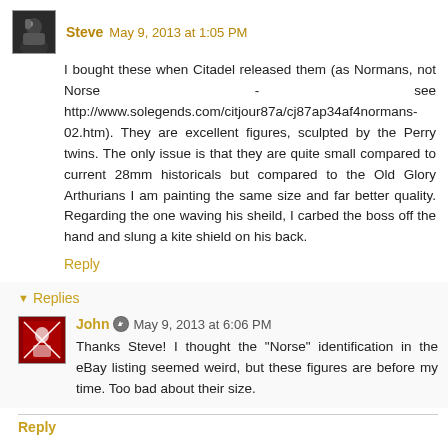[Figure (photo): Avatar image of commenter Steve, dark photo]
Steve May 9, 2013 at 1:05 PM
I bought these when Citadel released them (as Normans, not Norse - see http://www.solegends.com/citjour87a/cj87ap34af4normans-02.htm). They are excellent figures, sculpted by the Perry twins. The only issue is that they are quite small compared to current 28mm historicals but compared to the Old Glory Arthurians I am painting the same size and far better quality. Regarding the one waving his sheild, I carbed the boss off the hand and slung a kite shield on his back.
Reply
Replies
[Figure (photo): Avatar image of commenter John, red and white image]
John May 9, 2013 at 6:06 PM
Thanks Steve! I thought the "Norse" identification in the eBay listing seemed weird, but these figures are before my time. Too bad about their size.
Reply